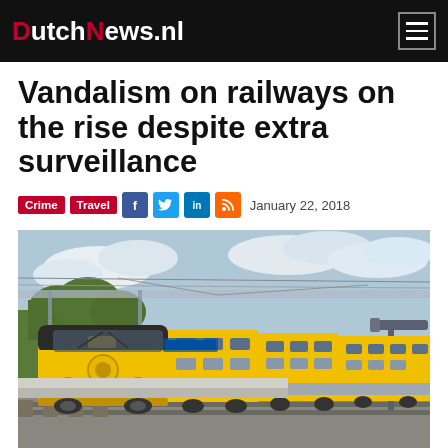DutchNews.nl
Vandalism on railways on the rise despite extra surveillance
Crime  Travel  January 22, 2018
[Figure (photo): Yellow Dutch NS train at a station platform with overhead electric wires, a platform canopy, and trees in the background under a partly cloudy sky.]